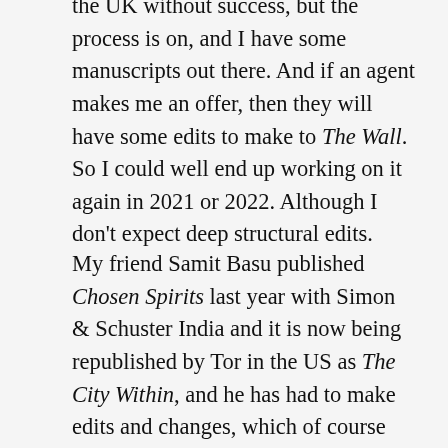the UK without success, but the process is on, and I have some manuscripts out there. And if an agent makes me an offer, then they will have some edits to make to The Wall. So I could well end up working on it again in 2021 or 2022. Although I don't expect deep structural edits.
My friend Samit Basu published Chosen Spirits last year with Simon & Schuster India and it is now being republished by Tor in the US as The City Within, and he has had to make edits and changes, which of course I'm sure will we be improving the novel. So if the book is republished in the US then it would definitely involve playing around with it a little more.